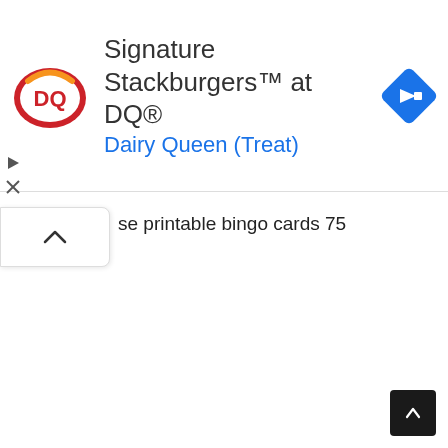[Figure (screenshot): Dairy Queen advertisement banner showing DQ logo, text 'Signature Stackburgers™ at DQ® Dairy Queen (Treat)', and a blue navigation arrow icon]
se printable bingo cards 75
[Figure (screenshot): Scroll-to-top button (dark square with upward arrow) in bottom-right corner]